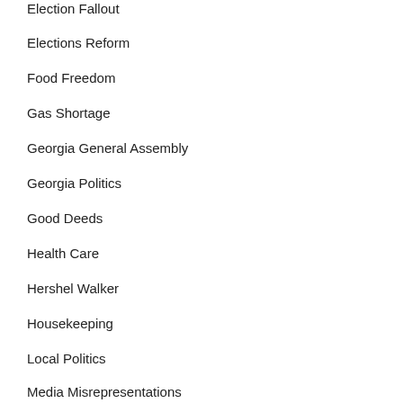Election Fallout
Elections Reform
Food Freedom
Gas Shortage
Georgia General Assembly
Georgia Politics
Good Deeds
Health Care
Hershel Walker
Housekeeping
Local Politics
Media Misrepresentations